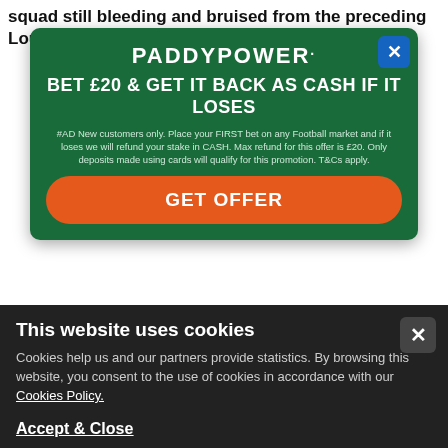squad still bleeding and bruised from the preceding Louis V...
[Figure (screenshot): Paddy Power advertisement overlay on a sports news webpage. Green background with white logo 'PADDYPOWER.', headline 'BET £20 & GET IT BACK AS CASH IF IT LOSES', terms and conditions text, and an orange 'GET OFFER' button. Blue close button with X in top right corner.]
🔵 Solskjær on starting the season well:
"The first 6-7 [Premier League] games are very important, you can lose the chance to win the league." [MUTV]
15:04 PM · 18th Jul 21
[Figure (screenshot): Cookie consent banner at bottom of page. Dark background with text 'This website uses cookies', description about cookies and partners, link to Cookies Policy, and 'Accept & Close' button. X close button in top right.]